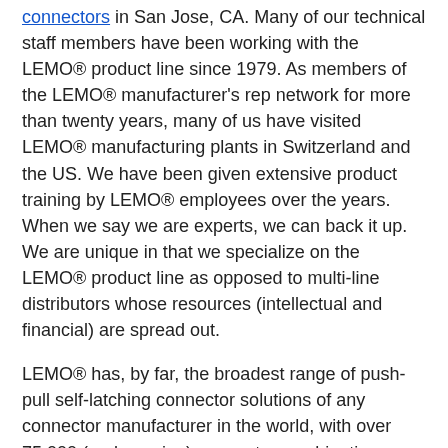connectors in San Jose, CA. Many of our technical staff members have been working with the LEMO® product line since 1979. As members of the LEMO® manufacturer's rep network for more than twenty years, many of us have visited LEMO® manufacturing plants in Switzerland and the US. We have been given extensive product training by LEMO® employees over the years. When we say we are experts, we can back it up.  We are unique in that we specialize on the LEMO® product line as opposed to multi-line distributors whose resources (intellectual and financial) are spread out.
LEMO® has, by far, the broadest range of push-pull self-latching connector solutions of any connector manufacturer in the world, with over 75,000 (and growing) connector combinations. LEMO® connectors are high quality, precision; application-specific interconnects with many permutations and available options.  When you have the need for mission-critical connections, your needs will be met with LEMO®!